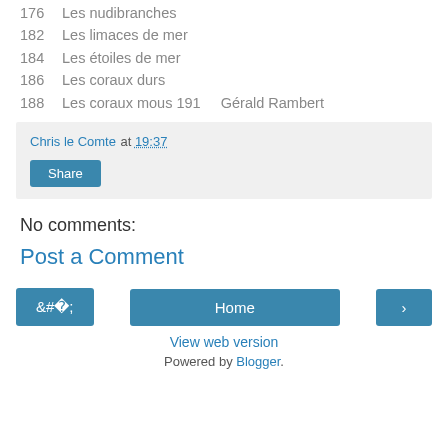176    Les nudibranches
182    Les limaces de mer
184    Les étoiles de mer
186    Les coraux durs
188    Les coraux mous 191    Gérald Rambert
Chris le Comte at 19:37
Share
No comments:
Post a Comment
Home
View web version
Powered by Blogger.